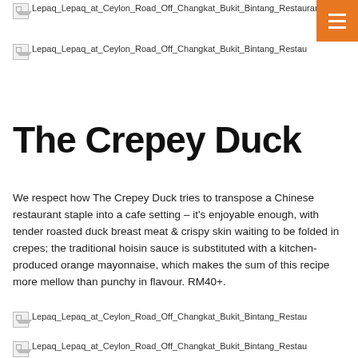[Figure (photo): Broken image placeholder with filename: Lepaq_Lepaq_at_Ceylon_Road_Off_Changkat_Bukit_Bintang_Restaurant]
[Figure (photo): Menu button (orange hamburger icon)]
[Figure (photo): Broken image placeholder with filename: Lepaq_Lepaq_at_Ceylon_Road_Off_Changkat_Bukit_Bintang_Restau]
The Crepey Duck
We respect how The Crepey Duck tries to transpose a Chinese restaurant staple into a cafe setting – it's enjoyable enough, with tender roasted duck breast meat & crispy skin waiting to be folded in crepes; the traditional hoisin sauce is substituted with a kitchen-produced orange mayonnaise, which makes the sum of this recipe more mellow than punchy in flavour. RM40+.
[Figure (photo): Broken image placeholder with filename: Lepaq_Lepaq_at_Ceylon_Road_Off_Changkat_Bukit_Bintang_Restau]
[Figure (photo): Broken image placeholder with filename: Lepaq_Lepaq_at_Ceylon_Road_Off_Changkat_Bukit_Bintang_Restau]